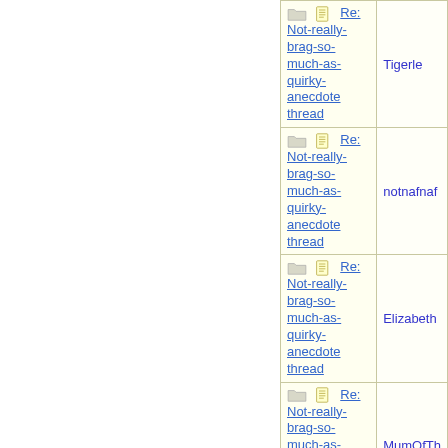| Subject | Author |
| --- | --- |
| Re: Not-really-brag-so-much-as-quirky-anecdote thread | Tigerle |
| Re: Not-really-brag-so-much-as-quirky-anecdote thread | notnafnaf |
| Re: Not-really-brag-so-much-as-quirky-anecdote thread | Elizabeth |
| Re: Not-really-brag-so-much-as-quirky-anecdote thread | MumOfTh |
| Re: Not-really-brag-so-much-as-quirky-anecdote thread | Mana |
| Re: Not-really-brag-so-much-as-quirky-anecdote thread | aquinas |
| Re: Not-really-brag-so-much-as-quirky-anecdote thread | Bean |